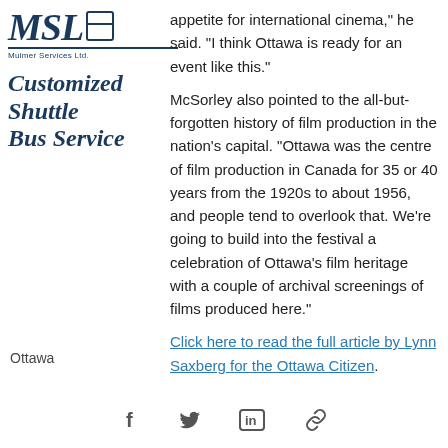[Figure (logo): MSL Mulmer Services Ltd. logo with italic serif letters and 'Customized Shuttle Bus Service' tagline in dark navy italic bold]
appetite for international cinema," he said. "I think Ottawa is ready for an event like this."
McSorley also pointed to the all-but-forgotten history of film production in the nation's capital. "Ottawa was the centre of film production in Canada for 35 or 40 years from the 1920s to about 1956, and people tend to overlook that. We're going to build into the festival a celebration of Ottawa's film heritage with a couple of archival screenings of films produced here."
Click here to read the full article by Lynn Saxberg for the Ottawa Citizen.
Ottawa
[Figure (infographic): Social sharing icons: Facebook (f), Twitter (bird), LinkedIn (in), link/chain icon]